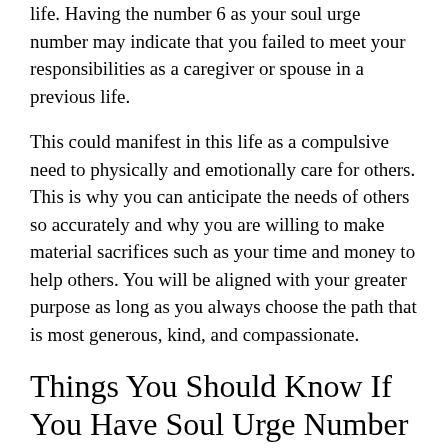life. Having the number 6 as your soul urge number may indicate that you failed to meet your responsibilities as a caregiver or spouse in a previous life.
This could manifest in this life as a compulsive need to physically and emotionally care for others. This is why you can anticipate the needs of others so accurately and why you are willing to make material sacrifices such as your time and money to help others. You will be aligned with your greater purpose as long as you always choose the path that is most generous, kind, and compassionate.
Things You Should Know If You Have Soul Urge Number 6
You also have known as a...